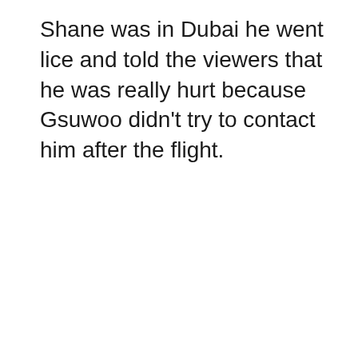Shane was in Dubai he went lice and told the viewers that he was really hurt because Gsuwoo didn't try to contact him after the flight.